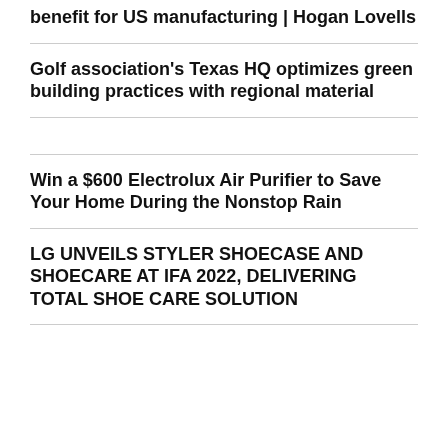benefit for US manufacturing | Hogan Lovells
Golf association's Texas HQ optimizes green building practices with regional material
Win a $600 Electrolux Air Purifier to Save Your Home During the Nonstop Rain
LG UNVEILS STYLER SHOECASE AND SHOECARE AT IFA 2022, DELIVERING TOTAL SHOE CARE SOLUTION